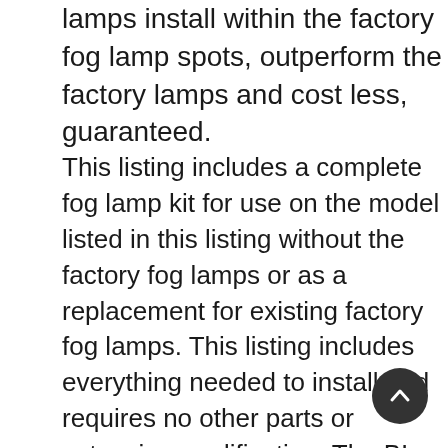lamps install within the factory fog lamp spots, outperform the factory lamps and cost less, guaranteed.
This listing includes a complete fog lamp kit for use on the model listed in this listing without the factory fog lamps or as a replacement for existing factory fog lamps. This listing includes everything needed to install and requires no other parts or extensive modification. The BL 1038w outperforms regular fog and driving lights in any weather condition. 90 degree beam pattern is both wide and far reaching, die-cast metal housing 55W H3 xenon 4100K white bulbs, 2.5" lamp enclosures, heavy-duty mounting brackets, LED illuminated switch, deluxe wiring harness included. BlingLights is one of the true leaders in the lighting industry. They produce Top notch lighting equipment. BlingLights lamps stand out as "lights attitude".